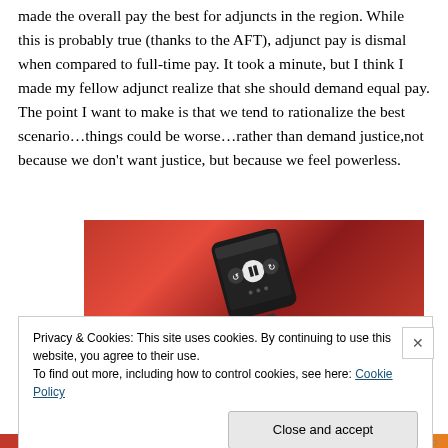made the overall pay the best for adjuncts in the region. While this is probably true (thanks to the AFT), adjunct pay is dismal when compared to full-time pay. It took a minute, but I think I made my fellow adjunct realize that she should demand equal pay. The point I want to make is that we tend to rationalize the best scenario…things could be worse…rather than demand justice,not because we don't want justice, but because we feel powerless.
[Figure (photo): Photo of a red smartphone on a red background, screen showing a media player with pause button]
Privacy & Cookies: This site uses cookies. By continuing to use this website, you agree to their use. To find out more, including how to control cookies, see here: Cookie Policy
Close and accept